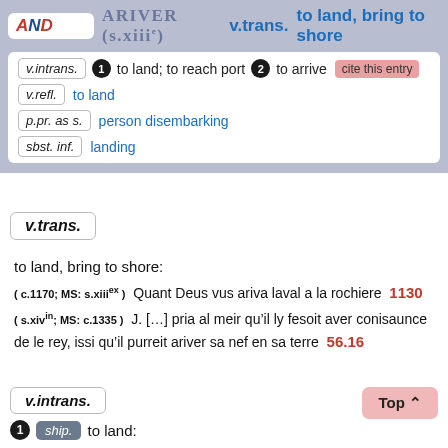ARIVER (s.xiiie) — v.trans. to land, bring to shore
v.intrans. 1 to land; to reach port 2 to arrive
v.refl. to land
p.pr. as s. person disembarking
sbst. inf. landing
v.trans.
to land, bring to shore:
( c.1170; MS: s.xiiie x )  Quant Deus vus ariva laval a la rochiere  1130
( s.xivin; MS: c.1335 )  J. [...] pria al meir qu’il ly fesoit aver conisaunce de le rey, issi qu’il purreit ariver sa nef en sa terre  56.16
v.intrans.
1 ship. to land: